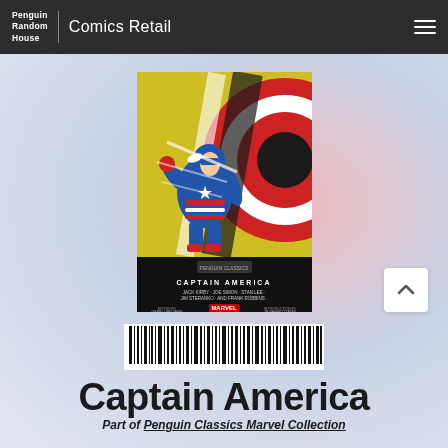Penguin Random House | Comics Retail
[Figure (illustration): Book cover of Captain America from the Penguin Classics Marvel Collection, showing Captain America throwing his shield with a yellow/green background and red-white-black shield graphic]
[Figure (other): Barcode image below the book cover]
Captain America
Part of Penguin Classics Marvel Collection